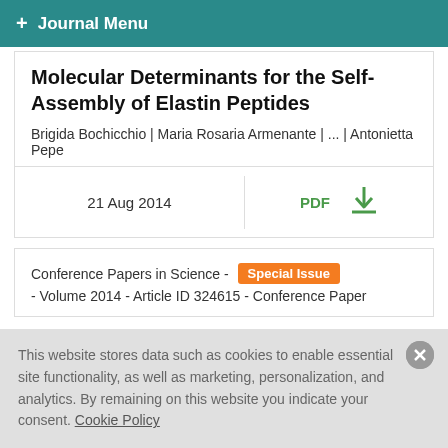+ Journal Menu
Molecular Determinants for the Self-Assembly of Elastin Peptides
Brigida Bochicchio | Maria Rosaria Armenante | ... | Antonietta Pepe
21 Aug 2014
PDF
Conference Papers in Science - Special Issue - Volume 2014 - Article ID 324615 - Conference Paper
This website stores data such as cookies to enable essential site functionality, as well as marketing, personalization, and analytics. By remaining on this website you indicate your consent. Cookie Policy